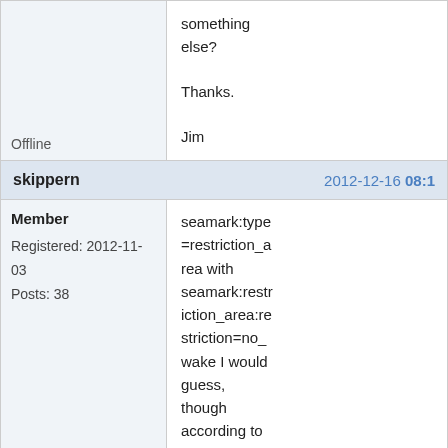something else?

Thanks.

Jim
Offline
skippern
2012-12-16 08:1
Member
Registered: 2012-11-03
Posts: 38
seamark:type=restriction_area with seamark:restriction_area:restriction=no_wake I would guess, though according to tagwatch there are some who